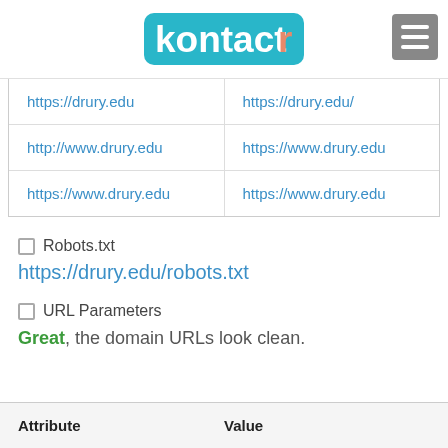kontactr
| https://drury.edu | https://drury.edu/ |
| http://www.drury.edu | https://www.drury.edu |
| https://www.drury.edu | https://www.drury.edu |
Robots.txt
https://drury.edu/robots.txt
URL Parameters
Great, the domain URLs look clean.
| Attribute | Value |
| --- | --- |